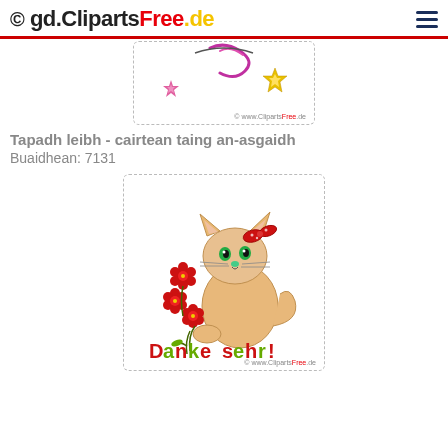© gd.ClipartsFree.de
[Figure (illustration): Partial clipart image showing decorative stars and swirls with © www.ClipartsFree.de watermark]
Tapadh leibh - cairtean taing an-asgaidh
Buaidhean: 7131
[Figure (illustration): Cute cartoon cat with red bow holding red flowers, with text 'Danke sehr!' and © www.ClipartsFree.de watermark]